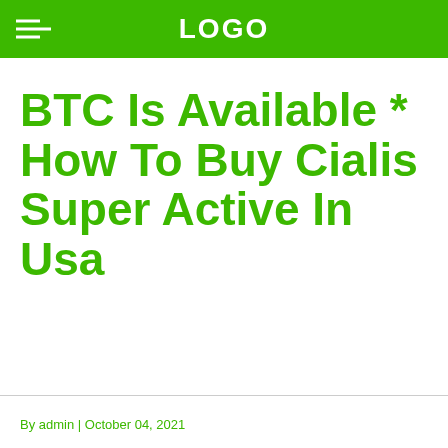LOGO
BTC Is Available * How To Buy Cialis Super Active In Usa
By admin | October 04, 2021